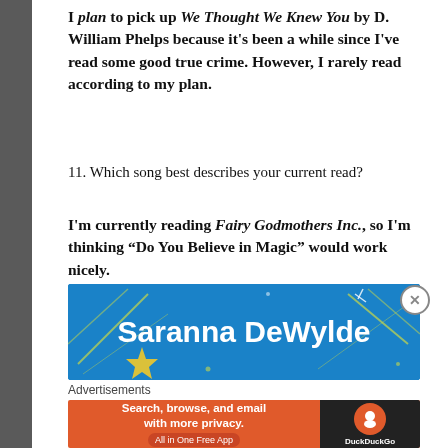I plan to pick up We Thought We Knew You by D. William Phelps because it's been a while since I've read some good true crime. However, I rarely read according to my plan.
11. Which song best describes your current read?
I'm currently reading Fairy Godmothers Inc., so I'm thinking “Do You Believe in Magic” would work nicely.
[Figure (illustration): Blue advertisement banner for Saranna DeWylde with decorative stars and lines]
Advertisements
[Figure (screenshot): DuckDuckGo advertisement banner: Search, browse, and email with more privacy. All in One Free App. DuckDuckGo logo on dark right panel.]